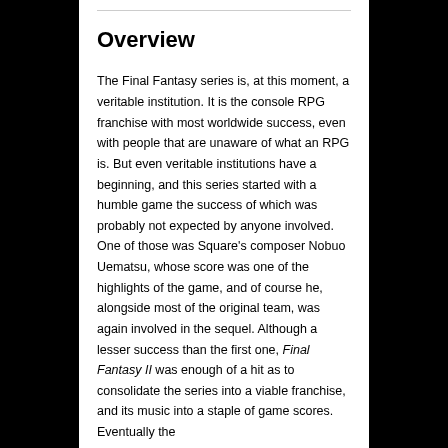Overview
The Final Fantasy series is, at this moment, a veritable institution. It is the console RPG franchise with most worldwide success, even with people that are unaware of what an RPG is. But even veritable institutions have a beginning, and this series started with a humble game the success of which was probably not expected by anyone involved. One of those was Square's composer Nobuo Uematsu, whose score was one of the highlights of the game, and of course he, alongside most of the original team, was again involved in the sequel. Although a lesser success than the first one, Final Fantasy II was enough of a hit as to consolidate the series into a viable franchise, and its music into a staple of game scores. Eventually the